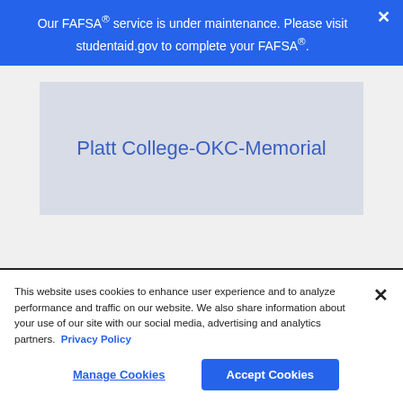Our FAFSA® service is under maintenance. Please visit studentaid.gov to complete your FAFSA®.
[Figure (logo): Platt College-OKC-Memorial logo placeholder — gray box with blue text reading 'Platt College-OKC-Memorial']
This website uses cookies to enhance user experience and to analyze performance and traffic on our website. We also share information about your use of our site with our social media, advertising and analytics partners. Privacy Policy
Manage Cookies
Accept Cookies